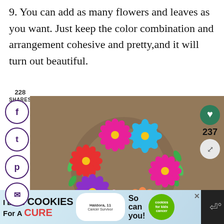9. You can add as many flowers and leaves as you want. Just keep the color combination and arrangement cohesive and pretty,and it will turn out beautiful.
228
SHARES
[Figure (photo): A colorful paper flower wreath made from various colored paper flowers (pink, purple, blue, orange, red, peach) with green leaves arranged in a circular wreath shape on a brown kraft paper background. Social sharing icons (Facebook, Twitter, Pinterest, email) are visible on the left side. A heart icon with count 237 and a share icon are on the right. A 'What's Next' preview shows 'Crepe Paper Peony...']
[Figure (screenshot): Advertisement banner: 'I Bake COOKIES For A CURE' with Haldora, 11 Cancer Survivor, and 'So can you!' with cookies for kids cancer badge]